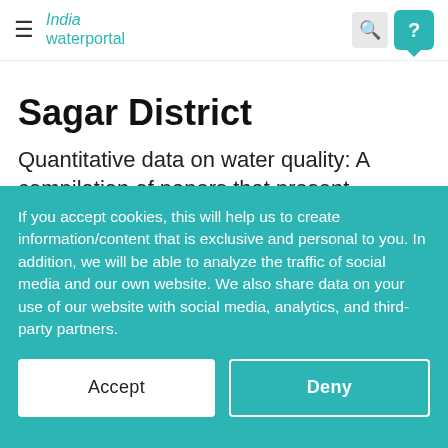India Water Portal — navigation header with hamburger menu, search, and help buttons
Sagar District
Quantitative data on water quality: A compilation of papers that present physico-chemical analyses of various
If you accept cookies, this will help us to create information/content that is exclusive and personal to you. In addition, we will be able to analyze the traffic of social media and our own website. We also share data on your use of our website with social media, analytics, and third-party partners.
Accept | Deny